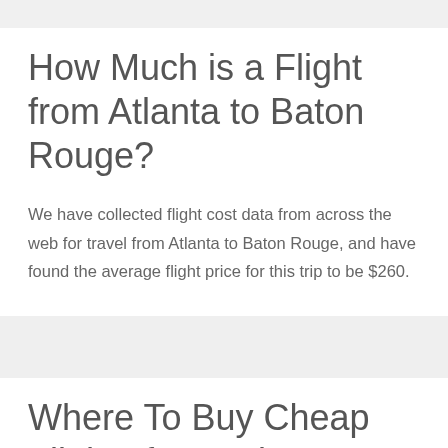How Much is a Flight from Atlanta to Baton Rouge?
We have collected flight cost data from across the web for travel from Atlanta to Baton Rouge, and have found the average flight price for this trip to be $260.
Where To Buy Cheap Flights from Atlanta to Baton Rouge?